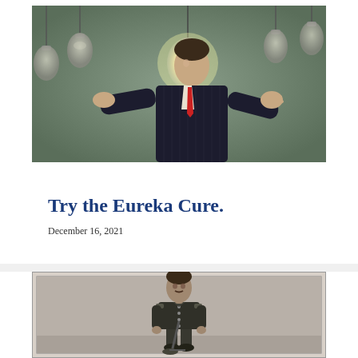[Figure (photo): A man in a dark business suit with arms outstretched surrounded by hanging light bulbs against a gray-green background. One bulb glows brightly near his right hand.]
Try the Eureka Cure.
December 16, 2021
[Figure (photo): A black and white photograph of a young man in military uniform standing and posing, with a rifle or weapon prop visible in front of him.]